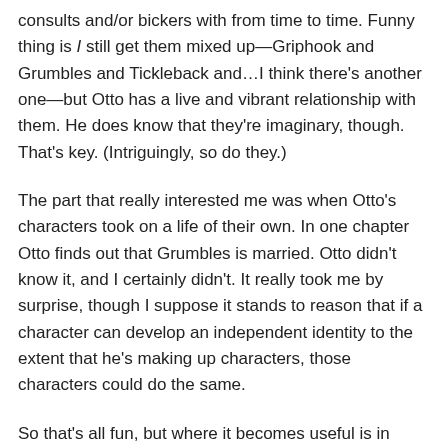consults and/or bickers with from time to time. Funny thing is I still get them mixed up—Griphook and Grumbles and Tickleback and…I think there's another one—but Otto has a live and vibrant relationship with them. He does know that they're imaginary, though. That's key. (Intriguingly, so do they.)
The part that really interested me was when Otto's characters took on a life of their own. In one chapter Otto finds out that Grumbles is married. Otto didn't know it, and I certainly didn't. It really took me by surprise, though I suppose it stands to reason that if a character can develop an independent identity to the extent that he's making up characters, those characters could do the same.
So that's all fun, but where it becomes useful is in letting those characters who have developed a rich background…